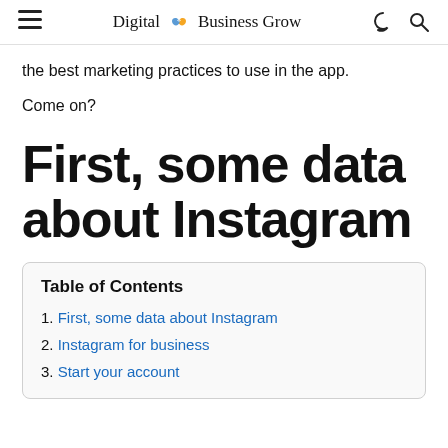Digital Business Grow
the best marketing practices to use in the app.
Come on?
First, some data about Instagram
| Table of Contents |
| --- |
| 1. First, some data about Instagram |
| 2. Instagram for business |
| 3. Start your account |